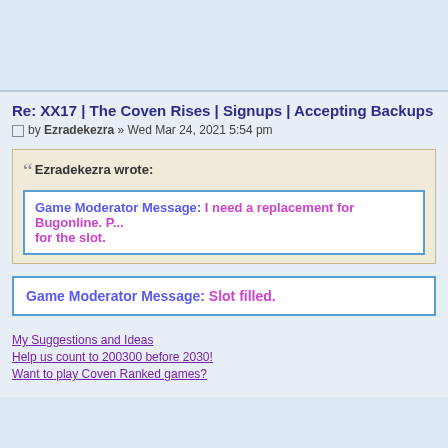Re: XX17 | The Coven Rises | Signups | Accepting Backups
by Ezradekezra » Wed Mar 24, 2021 5:54 pm
Ezradekezra wrote:
Game Moderator Message: I need a replacement for Bugonline. P... for the slot.
Game Moderator Message: Slot filled.
My Suggestions and Ideas
Help us count to 200300 before 2030!
Want to play Coven Ranked games?